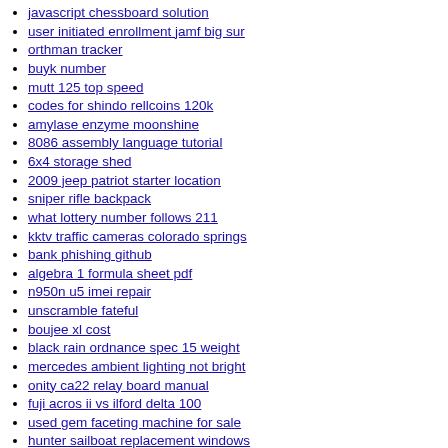javascript chessboard solution
user initiated enrollment jamf big sur
orthman tracker
buyk number
mutt 125 top speed
codes for shindo rellcoins 120k
amylase enzyme moonshine
8086 assembly language tutorial
6x4 storage shed
2009 jeep patriot starter location
sniper rifle backpack
what lottery number follows 211
kktv traffic cameras colorado springs
bank phishing github
algebra 1 formula sheet pdf
n950n u5 imei repair
unscramble fateful
boujee xl cost
black rain ordnance spec 15 weight
mercedes ambient lighting not bright
onity ca22 relay board manual
fuji acros ii vs ilford delta 100
used gem faceting machine for sale
hunter sailboat replacement windows
hidden button on gmc steering wheel